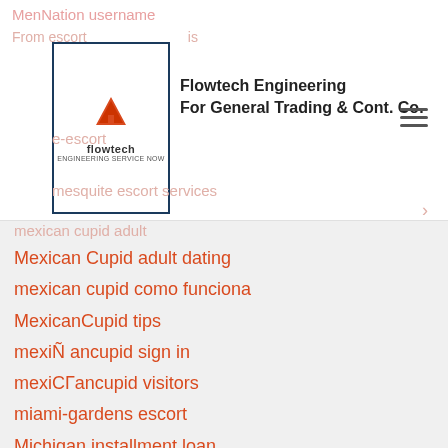Flowtech Engineering For General Trading & Cont. Co.
Mexican Cupid adult dating
mexican cupid como funciona
MexicanCupid tips
mexiÑ ancupid sign in
mexiCГancupid visitors
miami-gardens escort
Michigan installment loan
Michigan installment loans
midland escort girls
Milf Sites support
milfaholic italia